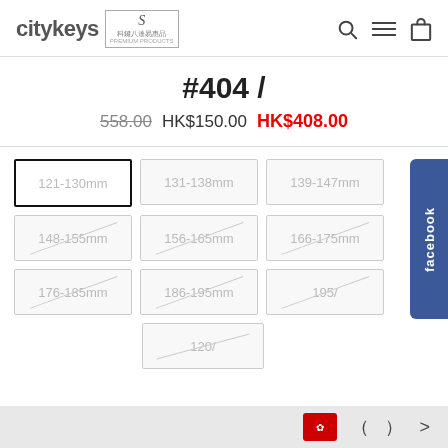citykeys
#404 /
558.00  HK$150.00  HK$408.00
[Figure (other): Size selection grid with options: 121-130mm (selected), 131-138mm, 139-147mm, 148-155mm, 156-165mm, 166-175mm, 176-185mm, 186-195mm, 195/ (crossed out), and 120/ (crossed out). Facebook tab on the right side.]
HK flag icon, navigation arrows